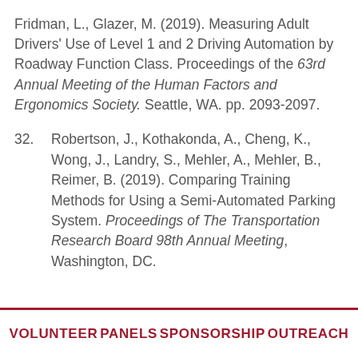Fridman, L., Glazer, M. (2019). Measuring Adult Drivers' Use of Level 1 and 2 Driving Automation by Roadway Function Class. Proceedings of the 63rd Annual Meeting of the Human Factors and Ergonomics Society. Seattle, WA. pp. 2093-2097.
32. Robertson, J., Kothakonda, A., Cheng, K., Wong, J., Landry, S., Mehler, A., Mehler, B., Reimer, B. (2019). Comparing Training Methods for Using a Semi-Automated Parking System. Proceedings of The Transportation Research Board 98th Annual Meeting, Washington, DC.
VOLUNTEER   PANELS   SPONSORSHIP   OUTREACH